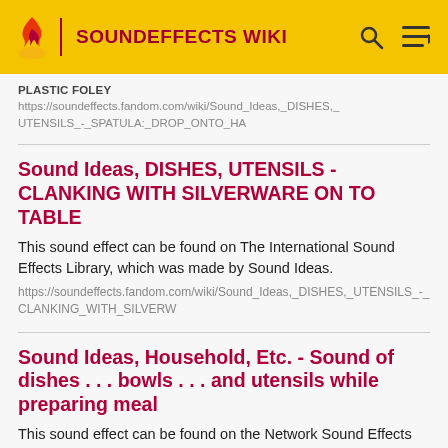SOUNDEFFECTS WIKI
PLASTIC FOLEY
https://soundeffects.fandom.com/wiki/Sound_Ideas,_DISHES,_UTENSILS_-_SPATULA:_DROP_ONTO_HA
Sound Ideas, DISHES, UTENSILS - CLANKING WITH SILVERWARE ON TO TABLE
This sound effect can be found on The International Sound Effects Library, which was made by Sound Ideas.
https://soundeffects.fandom.com/wiki/Sound_Ideas,_DISHES,_UTENSILS_-_CLANKING_WITH_SILVERW
Sound Ideas, Household, Etc. - Sound of dishes . . . bowls . . . and utensils while preparing meal
This sound effect can be found on the Network Sound Effects Library, which was made by Network Music and distributed by Sound Ideas.